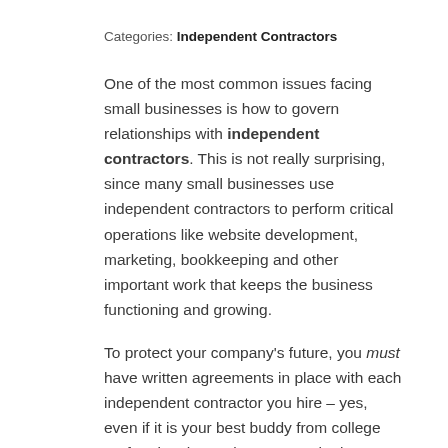Categories: Independent Contractors
One of the most common issues facing small businesses is how to govern relationships with independent contractors. This is not really surprising, since many small businesses use independent contractors to perform critical operations like website development, marketing, bookkeeping and other important work that keeps the business functioning and growing.
To protect your company's future, you must have written agreements in place with each independent contractor you hire – yes, even if it is your best buddy from college performing the work. Here are the key terms you want in your independent contractor agreement:
Full description of the services being provided by